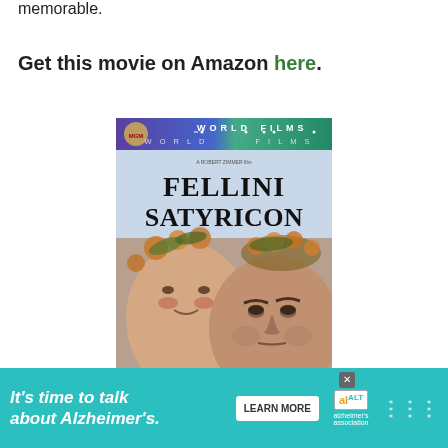memorable.
Get this movie on Amazon here.
[Figure (photo): DVD cover of Fellini Satyricon showing the MGM World Films label at top, with the title 'FELLINI SATYRICON' in large serif text, and two faces below — a young person and an older man, both wearing floral crowns.]
Fellini Satyricon
It's time to talk about Alzheimer's. LEARN MORE
125